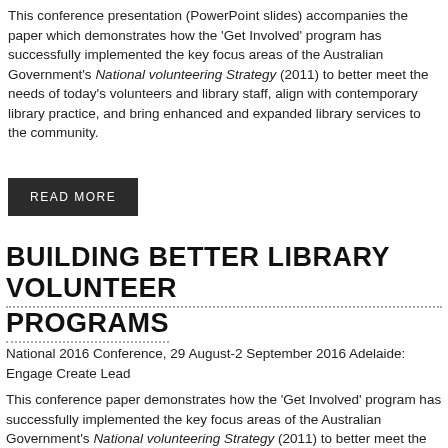This conference presentation (PowerPoint slides) accompanies the paper which demonstrates how the 'Get Involved' program has successfully implemented the key focus areas of the Australian Government's National volunteering Strategy (2011) to better meet the needs of today's volunteers and library staff, align with contemporary library practice, and bring enhanced and expanded library services to the community.
READ MORE
BUILDING BETTER LIBRARY VOLUNTEER PROGRAMS
National 2016 Conference, 29 August-2 September 2016 Adelaide: Engage Create Lead
This conference paper demonstrates how the 'Get Involved' program has successfully implemented the key focus areas of the Australian Government's National volunteering Strategy (2011) to better meet the needs of today's volunteers and library staff, align with contemporary